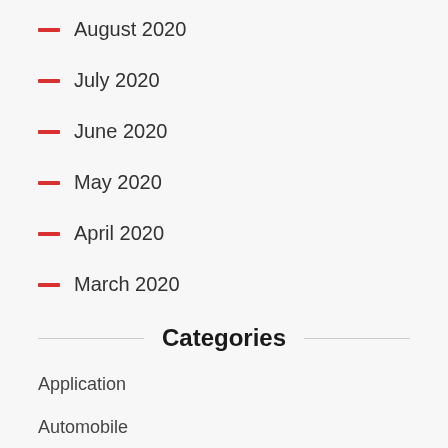August 2020
July 2020
June 2020
May 2020
April 2020
March 2020
Categories
Application
Automobile